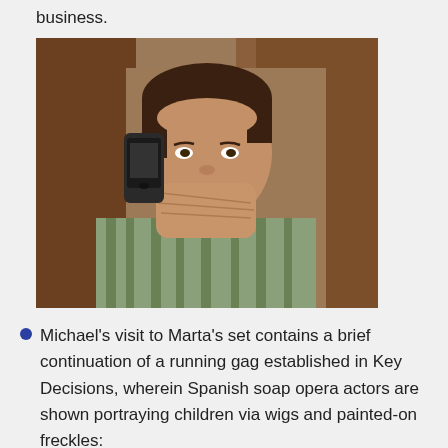business.
[Figure (photo): A man in a green striped shirt talking on a mobile phone, with his hands clasped near his mouth, appearing anxious or worried. Background shows a wooden door or wall.]
Michael's visit to Marta's set contains a brief continuation of a running gag established in Key Decisions, wherein Spanish soap opera actors are shown portraying children via wigs and painted-on freckles: